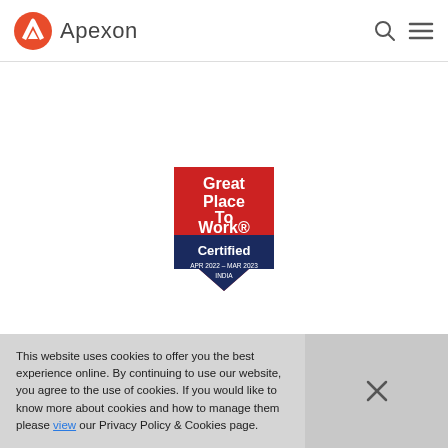[Figure (logo): Apexon logo: orange/red stylized mountain peak icon followed by 'Apexon' text in gray]
[Figure (illustration): Great Place To Work Certified badge, APR 2022 - MAR 2023, INDIA. Red shield shape with white text 'Great Place To Work.' and navy blue bottom section with 'Certified' and date range.]
This website uses cookies to offer you the best experience online. By continuing to use our website, you agree to the use of cookies. If you would like to know more about cookies and how to manage them please view our Privacy Policy & Cookies page.